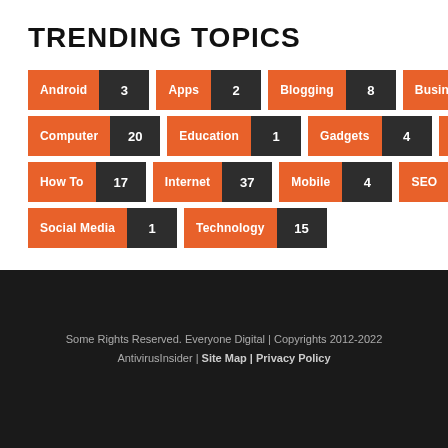TRENDING TOPICS
Android 3 | Apps 2 | Blogging 8 | Business 12 | Computer 20 | Education 1 | Gadgets 4 | Games 5 | How To 17 | Internet 37 | Mobile 4 | SEO 3 | Social Media 1 | Technology 15
Some Rights Reserved. Everyone Digital | Copyrights 2012-2022 AntivirusInsider | Site Map | Privacy Policy